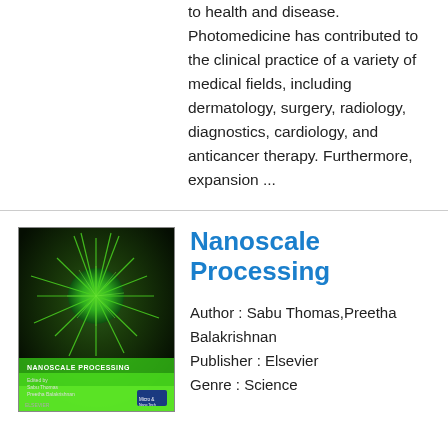to health and disease. Photomedicine has contributed to the clinical practice of a variety of medical fields, including dermatology, surgery, radiology, diagnostics, cardiology, and anticancer therapy. Furthermore, expansion ...
[Figure (photo): Book cover of 'Nanoscale Processing' edited by Sabu Thomas and Preetha Balakrishnan, showing a spiky nanostructure on dark background with green tones, published by Elsevier]
Nanoscale Processing
Author : Sabu Thomas,Preetha Balakrishnan Publisher : Elsevier Genre : Science